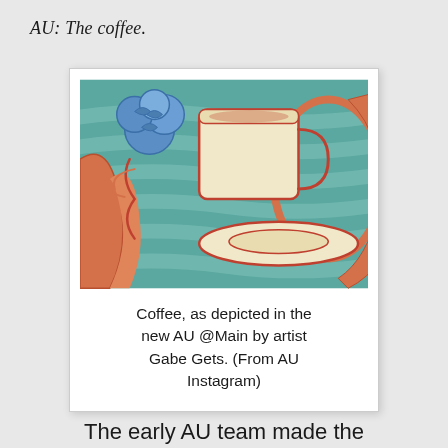AU: The coffee.
[Figure (illustration): A colorful illustration/painting of a coffee cup and saucer with blue floral elements and orange/red organic shapes on a teal striped background, resembling a polaroid photo.]
Coffee, as depicted in the new AU @Main by artist Gabe Gets. (From AU Instagram)
The early AU team made the